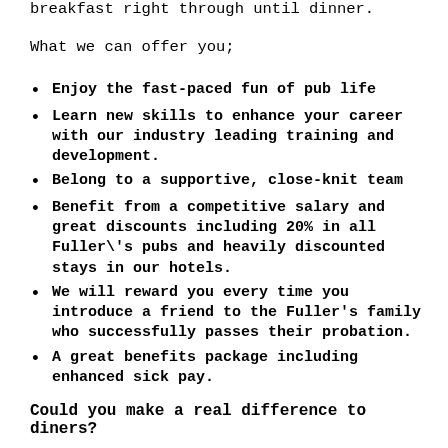breakfast right through until dinner.
What we can offer you;
Enjoy the fast-paced fun of pub life
Learn new skills to enhance your career with our industry leading training and development.
Belong to a supportive, close-knit team
Benefit from a competitive salary and great discounts including 20% in all Fuller\'s pubs and heavily discounted stays in our hotels.
We will reward you every time you introduce a friend to the Fuller's family who successfully passes their probation.
A great benefits package including enhanced sick pay.
Could you make a real difference to diners?